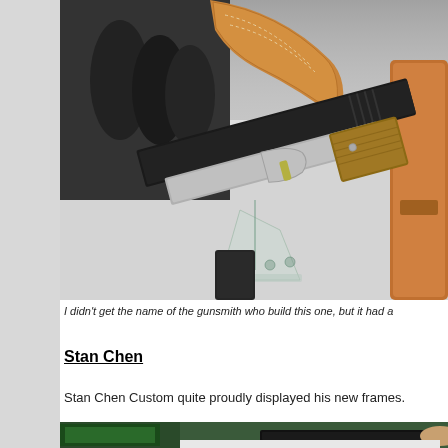[Figure (photo): Close-up photograph of a custom 1911-style pistol with wood grain grips and silver frame, displayed on a stand, with a tan leather holster visible in the background on a white surface.]
I didn't get the name of the gunsmith who build this one, but it had a
Stan Chen
Stan Chen Custom quite proudly displayed his new frames.
[Figure (photo): Partial photograph showing a custom pistol frame being held, with green signage and display materials visible in the background.]